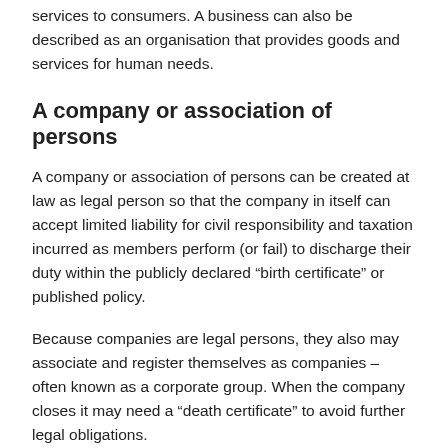services to consumers. A business can also be described as an organisation that provides goods and services for human needs.
A company or association of persons
A company or association of persons can be created at law as legal person so that the company in itself can accept limited liability for civil responsibility and taxation incurred as members perform (or fail) to discharge their duty within the publicly declared “birth certificate” or published policy.
Because companies are legal persons, they also may associate and register themselves as companies – often known as a corporate group. When the company closes it may need a “death certificate” to avoid further legal obligations.